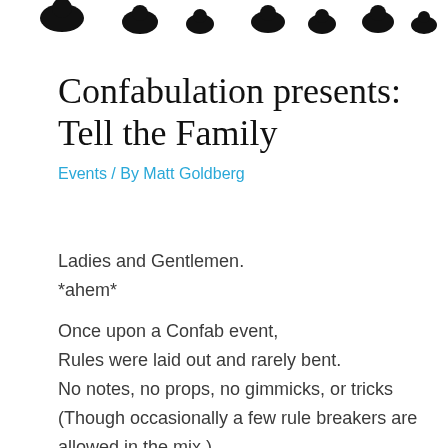[Figure (illustration): Row of black silhouette icons representing people/audience members at the top of the page]
Confabulation presents: Tell the Family
Events / By Matt Goldberg
Ladies and Gentlemen.
*ahem*
Once upon a Confab event,
Rules were laid out and rarely bent.
No notes, no props, no gimmicks, or tricks
(Though occasionally a few rule breakers are allowed in the mix.)
Stories must be told, and they must be true,
Above all, they should have happened to you.